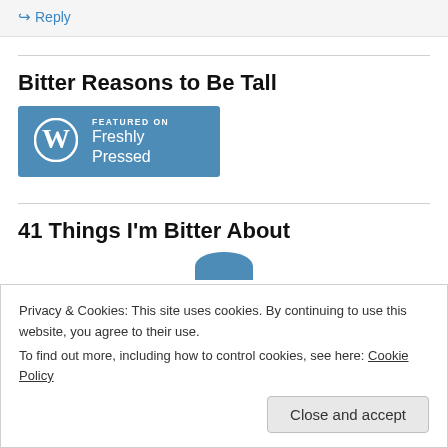↳ Reply
Bitter Reasons to Be Tall
[Figure (logo): WordPress 'Featured on Freshly Pressed' badge — blue rectangle with W logo and text 'FEATURED ON Freshly Pressed']
41 Things I'm Bitter About
Privacy & Cookies: This site uses cookies. By continuing to use this website, you agree to their use.
To find out more, including how to control cookies, see here: Cookie Policy
Close and accept